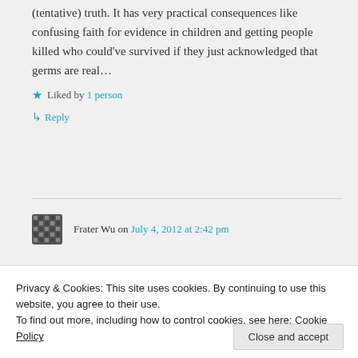(tentative) truth. It has very practical consequences like confusing faith for evidence in children and getting people killed who could've survived if they just acknowledged that germs are real…
★ Liked by 1 person
↳ Reply
Frater Wu on July 4, 2012 at 2:42 pm
Privacy & Cookies: This site uses cookies. By continuing to use this website, you agree to their use.
To find out more, including how to control cookies, see here: Cookie Policy
Close and accept